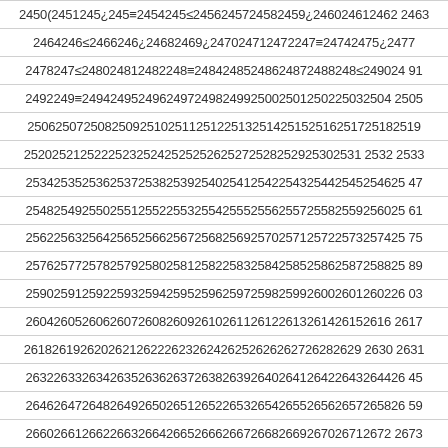2450245124522453245424552456245724582459246024612462 2463
2464246524662467246824692470247124722473247424752476 2477
2478247924802481248224832484248524862487248824892490 2491
2492249324942495249624972498249925002501250225032504 2505
2506250725082509251025112512251325142515251625172518 2519
2520252125222523252425252526252725282529253025312532 2533
2534253525362537253825392540254125422543254425452546 2547
2548254925502551255225532554255525562557255825592560 2561
2562256325642565256625672568256925702571257225732574 2575
2576257725782579258025812582258325842585258625872588 2589
2590259125922593259425952596259725982599260026012602 2603
2604260526062607260826092610261126122613261426152616 2617
2618261926202621262226232624262526262627262826292630 2631
2632263326342635263626372638263926402641264226432644 2645
2646264726482649265026512652265326542655265626572658 2659
2660266126622663266426652666266726682669267026712672 2673